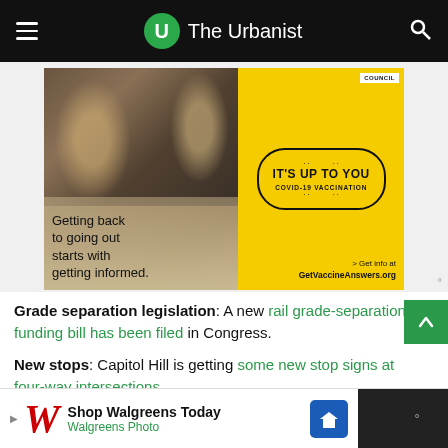The Urbanist
[Figure (photo): Advertisement: People socializing outdoors with text 'Getting back to going out starts with getting informed.' and yellow panel with 'IT'S UP TO YOU - COVID-19 VACCINATION' badge, and 'Get info at GetVaccineAnswers.org']
Grade separation legislation: A new rail grade-separation funding bill has been filed in Congress.
New stops: Capitol Hill is getting some new stop signs at four-way intersections
[Figure (photo): Advertisement: Shop Walgreens Today - Walgreens Photo]